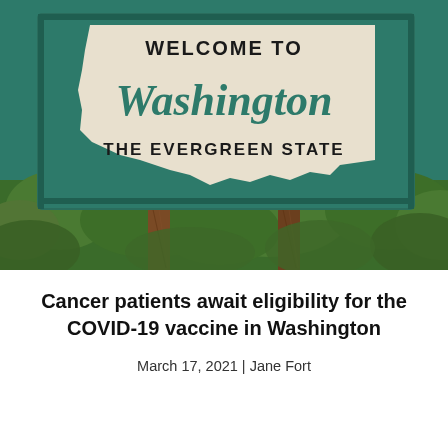[Figure (photo): Photo of a green 'Welcome to Washington - The Evergreen State' highway sign with white cutout of Washington state shape, supported by wooden posts, with green foliage in the background.]
Cancer patients await eligibility for the COVID-19 vaccine in Washington
March 17, 2021 | Jane Fort